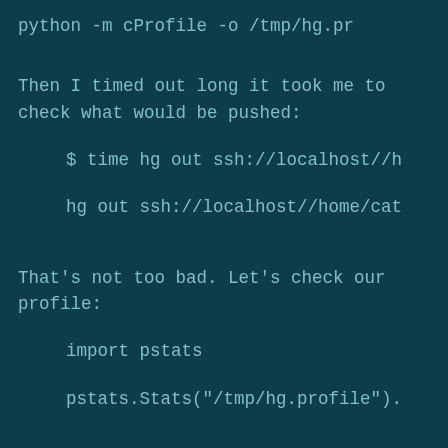python -m cProfile -o /tmp/hg.pr
Then I timed out long it took me to check what would be pushed:
$ time hg out ssh://localhost//h
hg out ssh://localhost//home/cat
That's not too bad. Let's check our profile:
import pstats
pstats.Stats("/tmp/hg.profile").